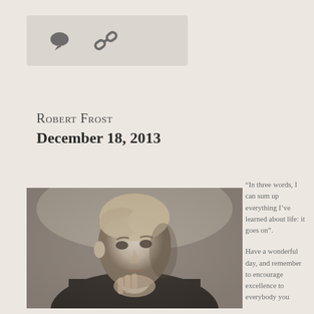[Figure (other): Icon bar with speech bubble and chain/link icons on a light tan background]
Robert Frost
December 18, 2013
[Figure (photo): Black and white portrait photograph of Robert Frost as a young man, resting his chin on his hand, wearing a suit]
“In three words, I can sum up everything I’ve learned about life: it goes on”.
Have a wonderful day, and remember to encourage excellence to everybody you